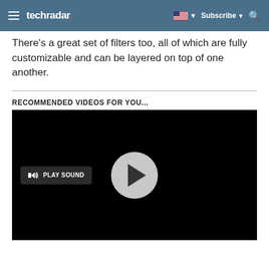techradar — Subscribe
There’s a great set of filters too, all of which are fully customizable and can be layered on top of one another.
RECOMMENDED VIDEOS FOR YOU...
[Figure (screenshot): Video player with black background, circular play button in center, and a 'PLAY SOUND' button on the lower left.]